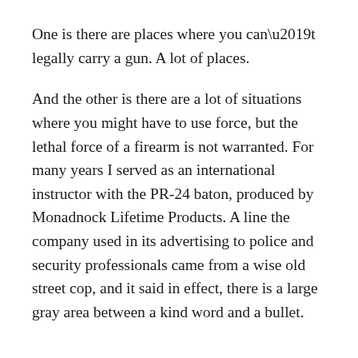One is there are places where you can't legally carry a gun. A lot of places.
And the other is there are a lot of situations where you might have to use force, but the lethal force of a firearm is not warranted. For many years I served as an international instructor with the PR-24 baton, produced by Monadnock Lifetime Products. A line the company used in its advertising to police and security professionals came from a wise old street cop, and it said in effect, there is a large gray area between a kind word and a bullet.
It is in important to...